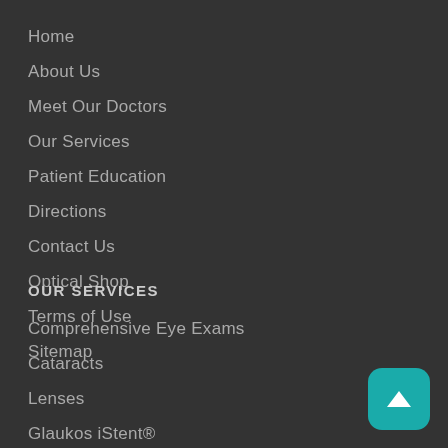Home
About Us
Meet Our Doctors
Our Services
Patient Education
Directions
Contact Us
Optical Shop
Terms of Use
Sitemap
OUR SERVICES
Comprehensive Eye Exams
Cataracts
Lenses
Glaukos iStent®
TearLab
Diabetic Evaluation and Care